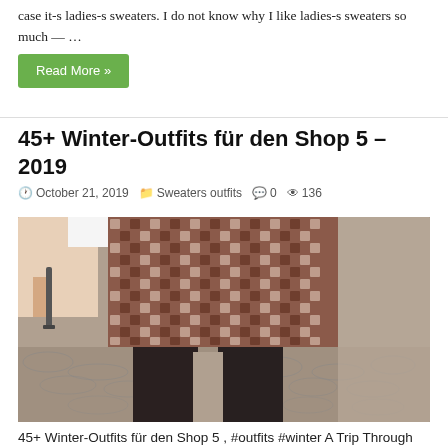case it-s ladies-s sweaters. I do not know why I like ladies-s sweaters so much — …
Read More »
45+ Winter-Outfits für den Shop 5 – 2019
October 21, 2019   Sweaters outfits   0   136
[Figure (photo): A person wearing a brown houndstooth mini skirt and black tights, holding a bag handle, standing on a cobblestone street.]
45+ Winter-Outfits für den Shop 5 , #outfits #winter A Trip Through My Sweater Drawer I wager like most girls I love clothes — besides in